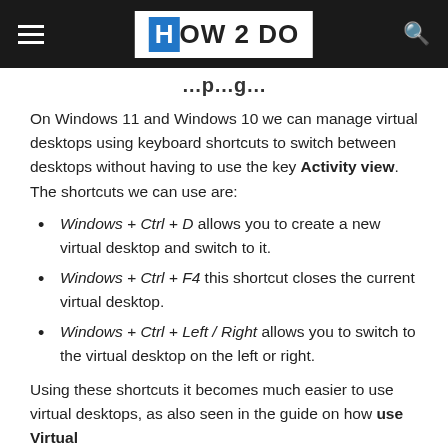HOW 2 DO
...p...g...
On Windows 11 and Windows 10 we can manage virtual desktops using keyboard shortcuts to switch between desktops without having to use the key Activity view. The shortcuts we can use are:
Windows + Ctrl + D allows you to create a new virtual desktop and switch to it.
Windows + Ctrl + F4 this shortcut closes the current virtual desktop.
Windows + Ctrl + Left / Right allows you to switch to the virtual desktop on the left or right.
Using these shortcuts it becomes much easier to use virtual desktops, as also seen in the guide on how use Virtual